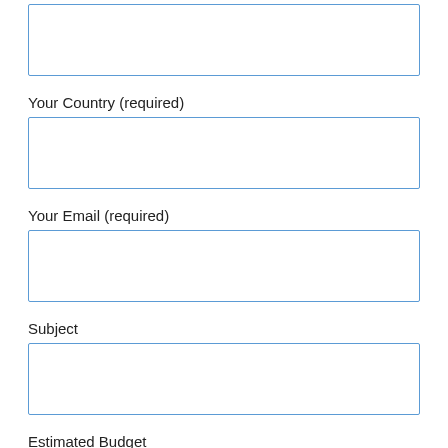[Figure (other): Empty text input field (no label visible, top of page)]
Your Country (required)
[Figure (other): Empty text input field for Your Country]
Your Email (required)
[Figure (other): Empty text input field for Your Email]
Subject
[Figure (other): Empty text input field for Subject]
Estimated Budget
[Figure (other): Empty text input field for Estimated Budget]